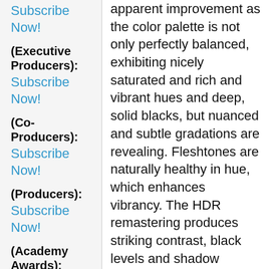Subscribe Now!
(Executive Producers): Subscribe Now!
(Co-Producers): Subscribe Now!
(Producers): Subscribe Now!
(Academy Awards): Subscribe Now!
apparent improvement as the color palette is not only perfectly balanced, exhibiting nicely saturated and rich and vibrant hues and deep, solid blacks, but nuanced and subtle gradations are revealing. Fleshtones are naturally healthy in hue, which enhances vibrancy. The HDR remastering produces striking contrast, black levels and shadow delineation, with excellent visual information in the darker scenes, as well as with regard to bright highlights. Noise and film grain have been de-